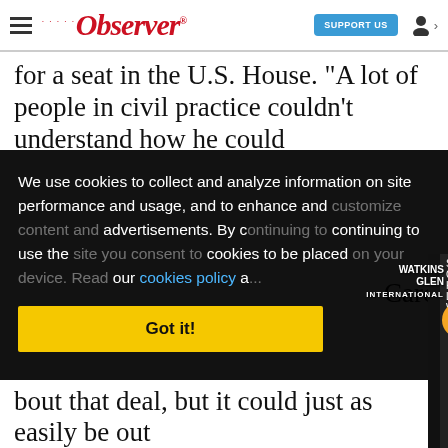Observer — SUPPORT US
for a seat in the U.S. House. "A lot of people in civil practice couldn't understand how he could
We use cookies to collect and analyze information on site performance and usage, and to enhance and customize content and advertisements. By continuing to use the site you consent to cookies to be placed on your device. Read our cookies policy a...
[Figure (screenshot): Sponsored Content video popup - Kyle Larson on Wa... with a close X button, showing a NASCAR driver in a blue Hendrick Motorsports uniform being interviewed at Watkins Glen International, with a mute button overlay and Watkins Glen International logo]
Got it!
n
s. Don
bout that deal, but it could just as easily be out